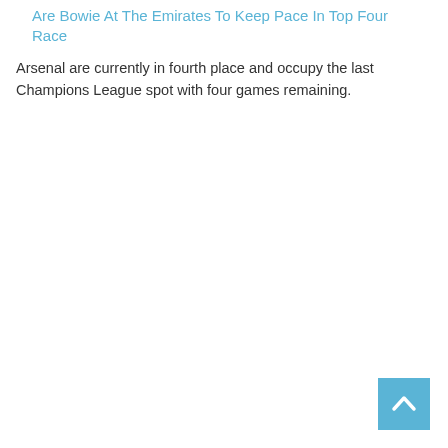Are Bowie At The Emirates To Keep Pace In Top Four Race
Arsenal are currently in fourth place and occupy the last Champions League spot with four games remaining.